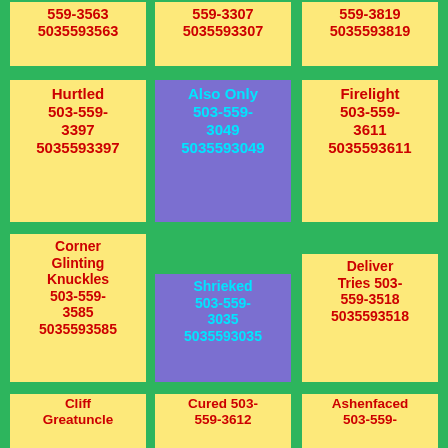559-3563 5035593563
559-3307 5035593307
559-3819 5035593819
Hurtled 503-559-3397 5035593397
Also Only 503-559-3049 5035593049
Firelight 503-559-3611 5035593611
Corner Glinting Knuckles 503-559-3585 5035593585
Shrieked 503-559-3035 5035593035
Deliver Tries 503-559-3518 5035593518
Cliff Greatuncle Writ 503-559-3815 5035593815
Cured 503-559-3612 5035593612
Ashenfaced 503-559-3658 5035593658